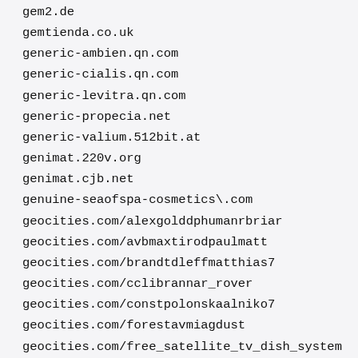gem2.de
gemtienda.co.uk
generic-ambien.qn.com
generic-cialis.qn.com
generic-levitra.qn.com
generic-propecia.net
generic-valium.512bit.at
genimat.220v.org
genimat.cjb.net
genuine-seaofspa-cosmetics\.com
geocities.com/alexgolddphumanrbriar
geocities.com/avbmaxtirodpaulmatt
geocities.com/brandtdleffmatthias7
geocities.com/cclibrannar_rover
geocities.com/constpolonskaalniko7
geocities.com/forestavmiagdust
geocities.com/free_satellite_tv_dish_system
geocities.com/ofconvbdemikqfolium
geocities.com/pashkabandtvcom